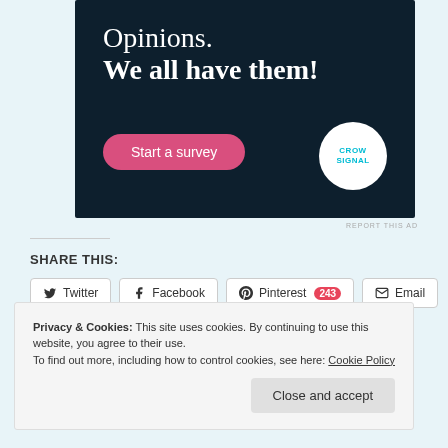[Figure (illustration): Crowdsignal advertisement banner with dark navy background. Text reads 'Opinions. We all have them!' with a pink 'Start a survey' button and the Crowdsignal logo in a white circle.]
REPORT THIS AD
SHARE THIS:
Twitter
Facebook
Pinterest 243
Email
Print
Privacy & Cookies: This site uses cookies. By continuing to use this website, you agree to their use. To find out more, including how to control cookies, see here: Cookie Policy
Close and accept